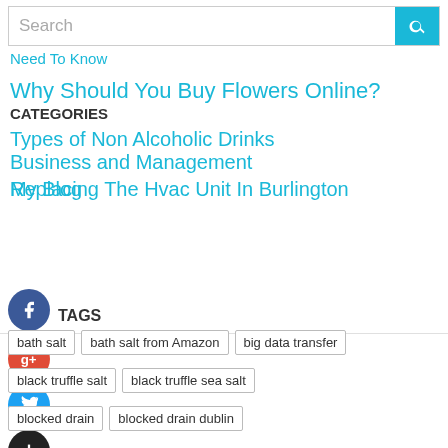Search
Need To Know
Why Should You Buy Flowers Online?
CATEGORIES
Types of Non Alcoholic Drinks
Business and Management
Replacing The Hvac Unit In Burlington
My Blog
[Figure (infographic): Facebook, Google+, Twitter, and Add social media icon buttons as colored circles]
TAGS
bath salt
bath salt from Amazon
big data transfer
black truffle salt
black truffle sea salt
blocked drain
blocked drain dublin